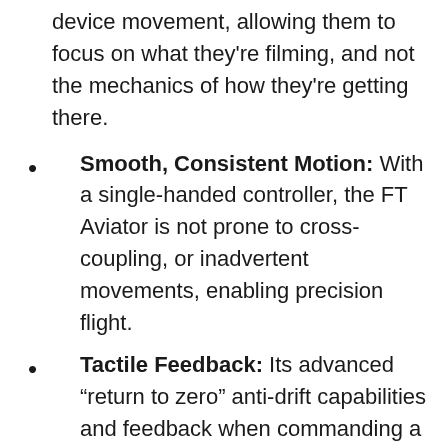device movement, allowing them to focus on what they're filming, and not the mechanics of how they're getting there.
Smooth, Consistent Motion: With a single-handed controller, the FT Aviator is not prone to cross-coupling, or inadvertent movements, enabling precision flight.
Tactile Feedback: Its advanced “return to zero” anti-drift capabilities and feedback when commanding a motion (or not) prevents inadvertent motion